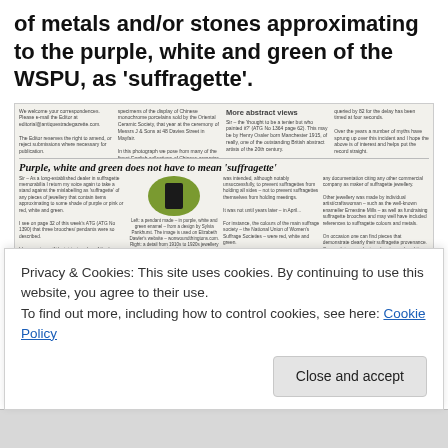of metals and/or stones approximating to the purple, white and green of the WSPU, as 'suffragette'.
[Figure (screenshot): Screenshot of a webpage article. Top section shows letters/responses with a column titled 'More abstract views'. Below is a section titled 'Purple, white and green does not have to mean suffragette' with columns of text, a green circular pendant image on the left, and dark jewellery images on the right.]
Privacy & Cookies: This site uses cookies. By continuing to use this website, you agree to their use.
To find out more, including how to control cookies, see here: Cookie Policy
Close and accept